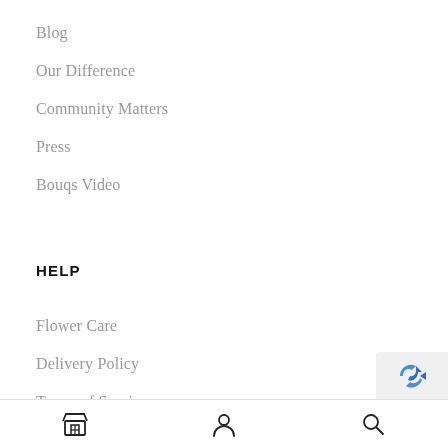Blog
Our Difference
Community Matters
Press
Bouqs Video
HELP
Flower Care
Delivery Policy
Terms of Service
Terms of Purchase
store icon | user icon | search icon